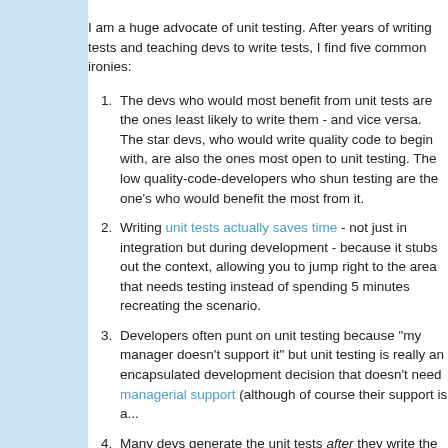I am a huge advocate of unit testing. After years of writing tests and teaching devs to write tests, I find five common ironies:
The devs who would most benefit from unit tests are the ones least likely to write them - and vice versa. The star devs, who would write quality code to begin with, are also the ones most open to unit testing. The low quality-code-developers who shun testing are the one's who would benefit the most from it.
Writing unit tests actually saves time - not just in integration but during development - because it stubs out the context, allowing you to jump right to the area that needs testing instead of spending 5 minutes recreating the scenario.
Developers often punt on unit testing because "my manager doesn't support it" but unit testing is really an encapsulated development decision that doesn't need managerial support (although of course their support is a...
Many devs generate the unit tests after they write the code ("our architects said we needed tests"), but tests are most beneficial before the code because they force you to think what the code does and it's actually faster to write the code.
The same teams who don't want to write unit tests are responsible for maintaining on the code they need to maintain.